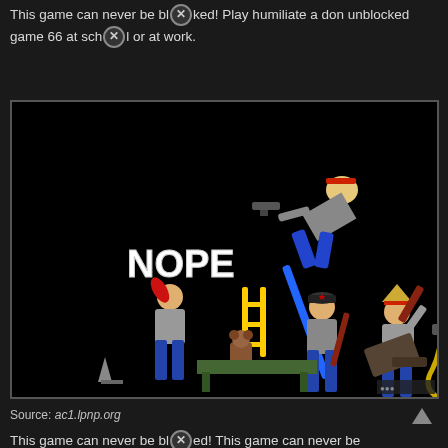This game can never be blocked! Play humiliate a don unblocked game 66 at school or at work.
[Figure (screenshot): Screenshot of a Flash-style stick figure fighting game with characters holding weapons, a 'NOPE' sign, and a black background.]
Source: ac1.lpnp.org
This game can never be blocked! This game can never be